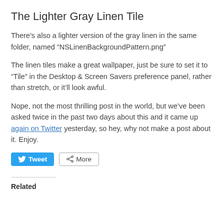The Lighter Gray Linen Tile
There’s also a lighter version of the gray linen in the same folder, named “NSLinenBackgroundPattern.png”
The linen tiles make a great wallpaper, just be sure to set it to “Tile” in the Desktop & Screen Savers preference panel, rather than stretch, or it’ll look awful.
Nope, not the most thrilling post in the world, but we’ve been asked twice in the past two days about this and it came up again on Twitter yesterday, so hey, why not make a post about it. Enjoy.
Related